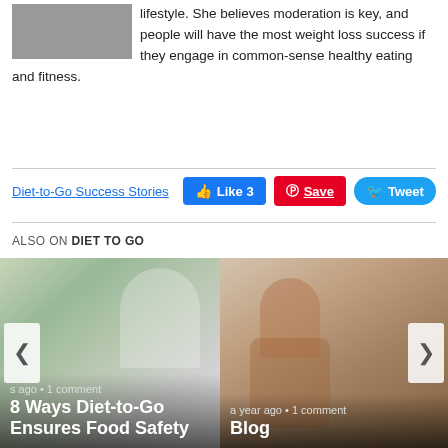lifestyle. She believes moderation is key, and people will have the most weight loss success if they engage in common-sense healthy eating and fitness.
Diet-to-Go Success Stories
Like 3
Save
Tweet
ALSO ON DIET TO GO
[Figure (photo): Card 1: Food safety photo with chef and vegetables; caption 's ago • 1 comment / 8 Ways Diet-to-Go Ensures Food Safety']
[Figure (photo): Card 2: Blog photo with woman smiling in mirror; caption 'a year ago • 1 comment / Blog']